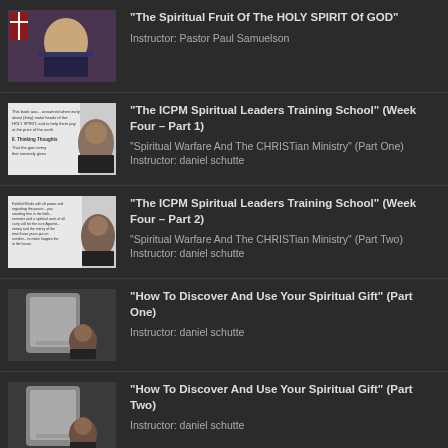"The Spiritual Fruit Of The HOLY SPIRIT Of GOD"
Instructor: Pastor Paul Samuelson
"The ICPM Spiritual Leaders Training School" (Week Four – Part 1)
"Spiritual Warfare And The CHRISTian Ministry" (Part One) Instructor: daniel schutte
"The ICPM Spiritual Leaders Training School" (Week Four – Part 2)
"Spiritual Warfare And The CHRISTian Ministry" (Part Two) Instructor: daniel schutte
"How To Discover And Use Your Spiritual Gift" (Part One)
Instructor: daniel schutte
"How To Discover And Use Your Spiritual Gift" (Part Two)
Instructor: daniel schutte